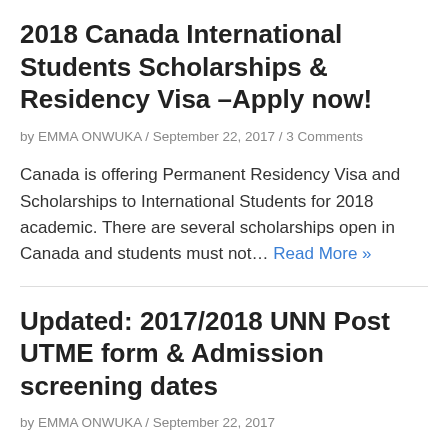2018 Canada International Students Scholarships & Residency Visa –Apply now!
by EMMA ONWUKA / September 22, 2017 / 3 Comments
Canada is offering Permanent Residency Visa and Scholarships to International Students for 2018 academic. There are several scholarships open in Canada and students must not… Read More »
Updated: 2017/2018 UNN Post UTME form & Admission screening dates
by EMMA ONWUKA / September 22, 2017